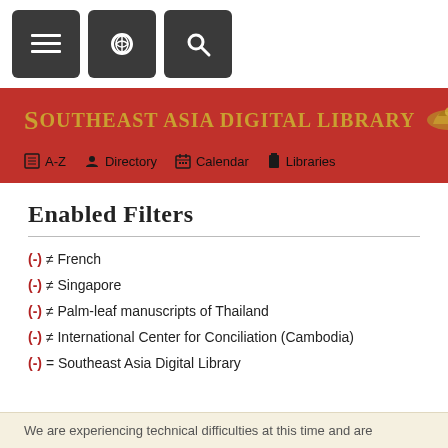Navigation bar with menu, link, and search buttons
[Figure (screenshot): Red header banner for Southeast Asia Digital Library website with navigation links: A-Z, Directory, Calendar, Libraries]
Enabled Filters
(-) ≠ French
(-) ≠ Singapore
(-) ≠ Palm-leaf manuscripts of Thailand
(-) ≠ International Center for Conciliation (Cambodia)
(-) = Southeast Asia Digital Library
We are experiencing technical difficulties at this time and are